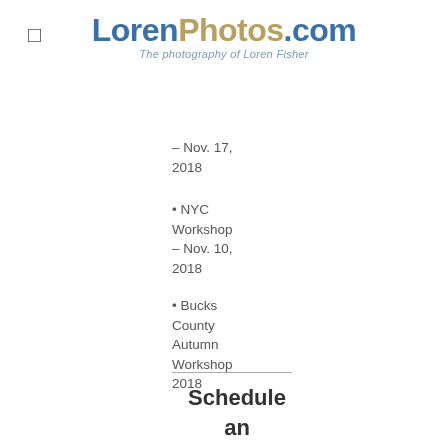LorenPhotos.com – The photography of Loren Fisher
– Nov. 17, 2018
• NYC Workshop – Nov. 10, 2018
• Bucks County Autumn Workshop 2018
• Vermont Fall Foliage Workshop 2018
Schedule an Appointment